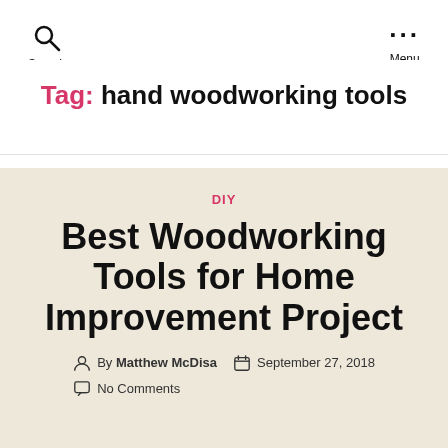Search   Menu
Tag: hand woodworking tools
DIY
Best Woodworking Tools for Home Improvement Project
By Matthew McDisa   September 27, 2018   No Comments